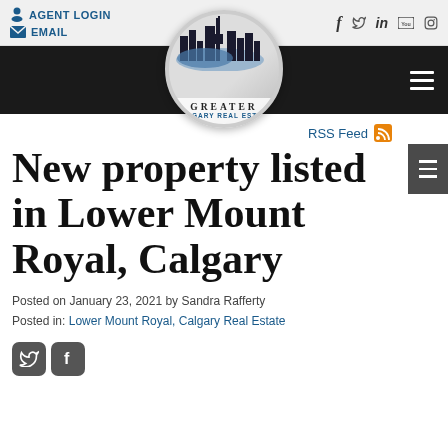AGENT LOGIN | EMAIL | Social icons: f, Twitter, in, YouTube, Instagram
[Figure (logo): Greater Calgary Real Estate circular logo with city skyline silhouette]
RSS Feed
New property listed in Lower Mount Royal, Calgary
Posted on January 23, 2021 by Sandra Rafferty
Posted in: Lower Mount Royal, Calgary Real Estate
[Figure (illustration): Twitter and Facebook social share icon buttons]